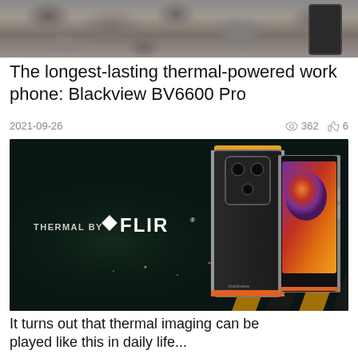[Figure (photo): Top portion of a rugged smartphone on rocky terrain background]
The longest-lasting thermal-powered work phone: Blackview BV6600 Pro
2021-09-26   362   6
[Figure (photo): Blackview BV6600 Pro promotional image showing THERMAL BY FLIR branding with two phones displaying thermal imaging capability against dark background]
It turns out that thermal imaging can be played like this in daily life...